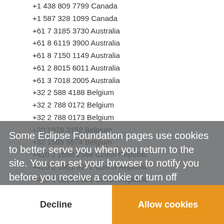+1 438 809 7799 Canada
+1 587 328 1099 Canada
+61 7 3185 3730 Australia
+61 8 6119 3900 Australia
+61 8 7150 1149 Australia
+61 2 8015 6011 Australia
+61 3 7018 2005 Australia
+32 2 588 4188 Belgium
+32 2 788 0172 Belgium
+32 2 788 0173 Belgium
+32 1979 3152 Belgium
+32 1595 5574 Belgium
+420 2 2888 2388 Czech Republic
+420 2 3901 8272 Czech Republic
+420 5 3889 0161 Czech Republic
+45 72 80 11 Denmark
+45 47 37 25 75 Denmark
+45 89 88 37 88 Denmark
+45 32 70 12 06 Denmark
+45 32 71 31 57 Denmark
+45 32 72 80 10 Denmark
Some Eclipse Foundation pages use cookies to better serve you when you return to the site. You can set your browser to notify you before you receive a cookie or turn off cookies. If you do so, however, some areas of some sites may not function properly. To read Eclipse Foundation Privacy Policy click here.
Decline
Allow cookies